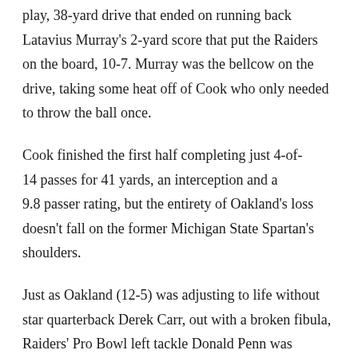play, 38-yard drive that ended on running back Latavius Murray's 2-yard score that put the Raiders on the board, 10-7. Murray was the bellcow on the drive, taking some heat off of Cook who only needed to throw the ball once.
Cook finished the first half completing just 4-of-14 passes for 41 yards, an interception and a 9.8 passer rating, but the entirety of Oakland's loss doesn't fall on the former Michigan State Spartan's shoulders.
Just as Oakland (12-5) was adjusting to life without star quarterback Derek Carr, out with a broken fibula, Raiders' Pro Bowl left tackle Donald Penn was scratched from the game due to a small fracture in his knee. The good news is that the fracture won't require surgery, but Penn couldn't suit up snapping a streak of 155 straight starts.
The injuries didn't stop there for the Silver and Black.